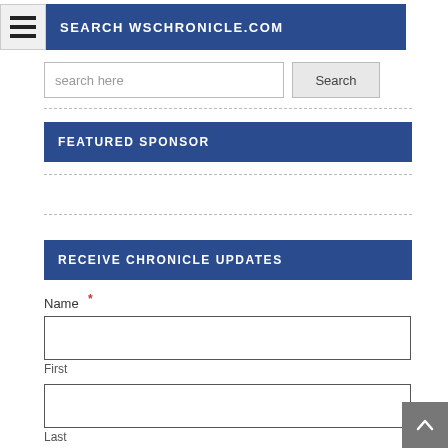SEARCH WSCHRONICLE.COM
search here
Search
FEATURED SPONSOR
RECEIVE CHRONICLE UPDATES
Name *
First
Last